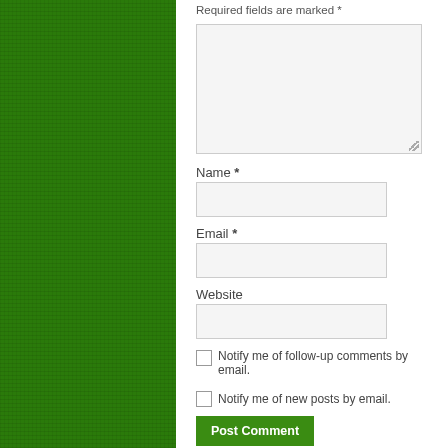Required fields are marked *
Name *
Email *
Website
Notify me of follow-up comments by email.
Notify me of new posts by email.
Post Comment